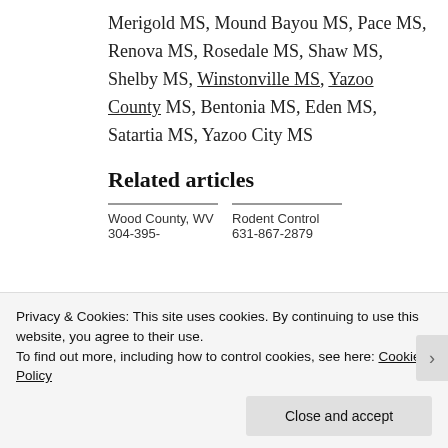Merigold MS, Mound Bayou MS, Pace MS, Renova MS, Rosedale MS, Shaw MS, Shelby MS, Winstonville MS, Yazoo County MS, Bentonia MS, Eden MS, Satartia MS, Yazoo City MS
Related articles
Wood County, WV 304-395-
Rodent Control 631-867-2879
Privacy & Cookies: This site uses cookies. By continuing to use this website, you agree to their use.
To find out more, including how to control cookies, see here: Cookie Policy